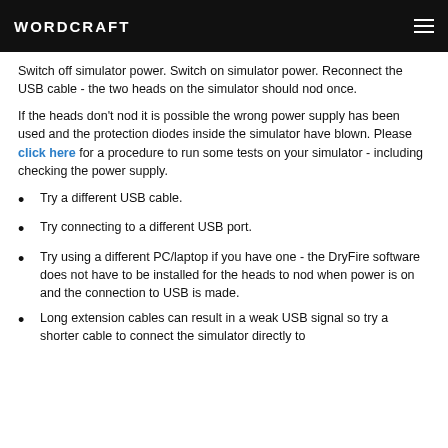WORDCRAFT
Switch off simulator power. Switch on simulator power. Reconnect the USB cable - the two heads on the simulator should nod once.
If the heads don't nod it is possible the wrong power supply has been used and the protection diodes inside the simulator have blown. Please click here for a procedure to run some tests on your simulator - including checking the power supply.
Try a different USB cable.
Try connecting to a different USB port.
Try using a different PC/laptop if you have one - the DryFire software does not have to be installed for the heads to nod when power is on and the connection to USB is made.
Long extension cables can result in a weak USB signal so try a shorter cable to connect the simulator directly to your PC's...